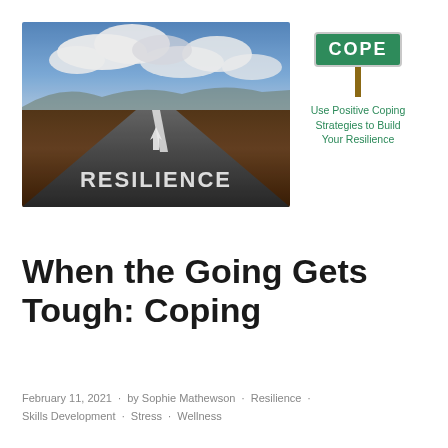[Figure (photo): Photo of a desert road stretching into the horizon with 'RESILIENCE' written in large white letters on the road surface, and an upward arrow above it. Dramatic blue sky with clouds in background.]
[Figure (illustration): COPE road sign — green rectangular sign with white bold text reading 'COPE', mounted on a brown post. Below the sign in teal text: 'Use Positive Coping Strategies to Build Your Resilience']
When the Going Gets Tough: Coping
February 11, 2021 · by Sophie Mathewson · Resilience · Skills Development · Stress · Wellness